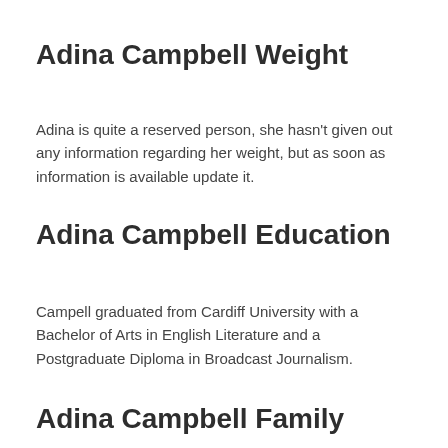Adina Campbell Weight
Adina is quite a reserved person, she hasn't given out any information regarding her weight, but as soon as information is available update it.
Adina Campbell Education
Campell graduated from Cardiff University with a Bachelor of Arts in English Literature and a Postgraduate Diploma in Broadcast Journalism.
Adina Campbell Family